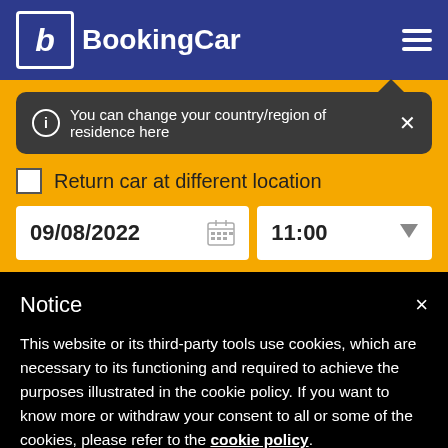BookingCar
You can change your country/region of residence here
Return car at different location
09/08/2022
11:00
Notice
This website or its third-party tools use cookies, which are necessary to its functioning and required to achieve the purposes illustrated in the cookie policy. If you want to know more or withdraw your consent to all or some of the cookies, please refer to the cookie policy.
By closing this banner, scrolling this page, clicking a link or continuing to browse otherwise, you agree to the use of cookies.